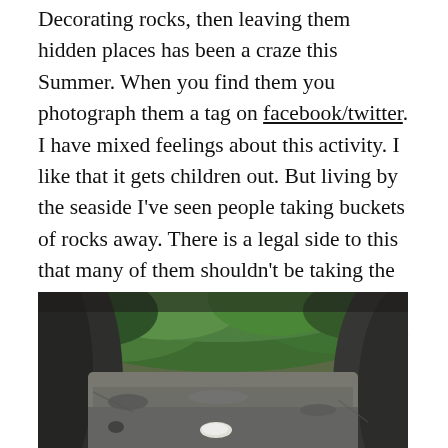Decorating rocks, then leaving them hidden places has been a craze this Summer. When you find them you photograph them a tag on facebook/twitter. I have mixed feelings about this activity. I like that it gets children out. But living by the seaside I've seen people taking buckets of rocks away. There is a legal side to this that many of them shouldn't be taking the quantity they are as well as dismantling a habitat. But this probably deserves a whole blog on itself. People have always taken rocks and seashells as souvenirs from beaches, but the quantity people are taking is a concern.
[Figure (photo): Close-up photo of rocks and pebbles near the seaside, with green foliage visible in the background and a small white shell or pebble resting between dark grey rocks on sandy ground.]